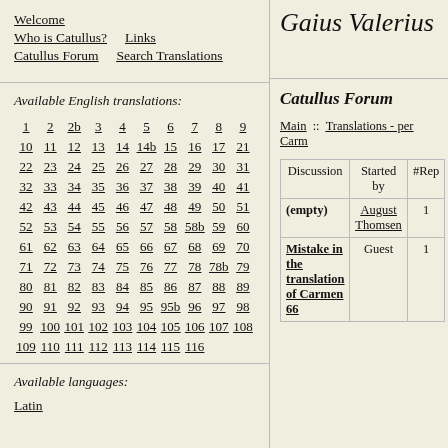Gaius Valerius
Welcome
Who is Catullus?  Links
Catullus Forum  Search Translations
Available English translations:
1 2 2b 3 4 5 6 7 8 9 10 11 12 13 14 14b 15 16 17 21 22 23 24 25 26 27 28 29 30 31 32 33 34 35 36 37 38 39 40 41 42 43 44 45 46 47 48 49 50 51 52 53 54 55 56 57 58 58b 59 60 61 62 63 64 65 66 67 68 69 70 71 72 73 74 75 76 77 78 78b 79 80 81 82 83 84 85 86 87 88 89 90 91 92 93 94 95 95b 96 97 98 99 100 101 102 103 104 105 106 107 108 109 110 111 112 113 114 115 116
Available languages:
Latin
Catullus Forum
Main :: Translations - per Carm
| Discussion | Started by | #Rep |
| --- | --- | --- |
| (empty) | August Thomsen | 1 |
| Mistake in the translation of Carmen 66 | Guest | 1 |